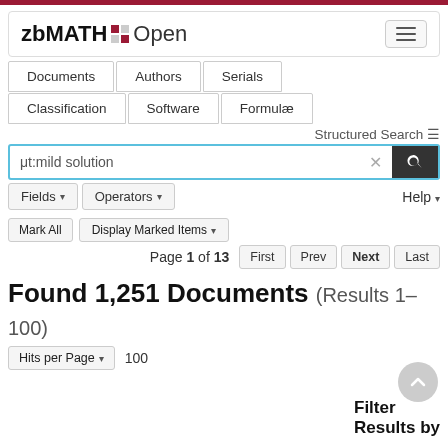zbMATH Open
Documents | Authors | Serials | Classification | Software | Formulæ
Structured Search
ut:mild solution
Fields ▾  Operators ▾  Help ▾
Mark All  Display Marked Items ▾
Page 1 of 13  First  Prev  Next  Last
Found 1,251 Documents (Results 1–100)
Hits per Page ▾  100  Filter Results by